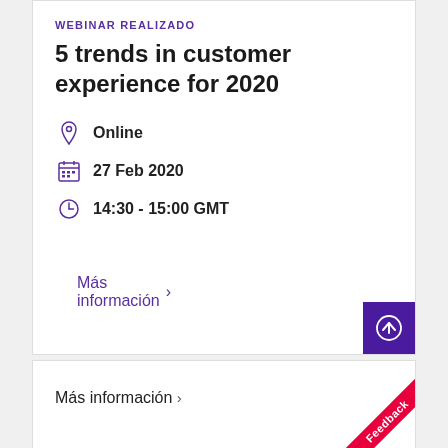WEBINAR REALIZADO
5 trends in customer experience for 2020
Online
27 Feb 2020
14:30 - 15:00 GMT
Más información ›
Más información ›